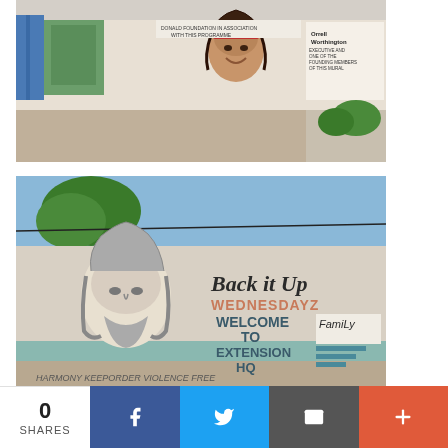[Figure (photo): Outdoor photo of a wall mural featuring a painted portrait of a person with dreadlocks and a red headband, smiling. Additional painted murals and text visible on the wall. Inscription reads 'DONALD FOUNDATION IN ASSOCIATION WITH THIS PROGRAMME' and 'Orrell Worthington EXECUTIVE AND ONE OF THE FOUNDING MEMBERS OF THIS MURAL'. Sandy/rocky ground in foreground, green shrubs at right.]
[Figure (photo): Outdoor photo of a concrete wall painted with murals. Text reads 'Back it Up WEDNESDAYZ WELCOME TO EXTENSION HQ Family' with a hand-drawn portrait (resembling Bob Marley style) on the left side. Bottom of wall has graffiti text 'HARMONY KEEPORDER VIOLENCE FREE'. Blue sky and tree visible in background.]
0 SHARES | Facebook share button | Twitter share button | Email share button | More share button